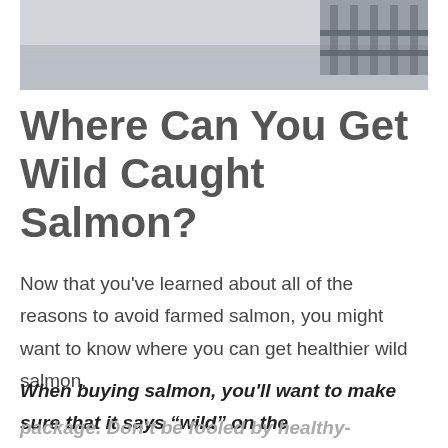[Figure (photo): Aerial or waterfront photo showing a dock or pier structure over calm water, likely a fish farm or harbor setting.]
Where Can You Get Wild Caught Salmon?
Now that you've learned about all of the reasons to avoid farmed salmon, you might want to know where you can get healthier wild salmon.
When buying salmon, you'll want to make sure that it says “wild” on the package. Don't be fooled by healthy-sounding terms like “organic”.